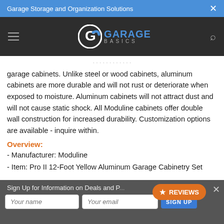Garage Storage and Organization Solutions
[Figure (logo): Garage Basics logo with stylized G icon in white on dark background, with GARAGE in blue and BASICS in gray letters]
garage cabinets. Unlike steel or wood cabinets, aluminum cabinets are more durable and will not rust or deteriorate when exposed to moisture. Aluminum cabinets will not attract dust and will not cause static shock. All Moduline cabinets offer double wall construction for increased durability. Customization options are available - inquire within.
Overview:
- Manufacturer: Moduline
- Item: Pro II 12-Foot Yellow Aluminum Garage Cabinetry Set
Sign Up for Information on Deals and P...